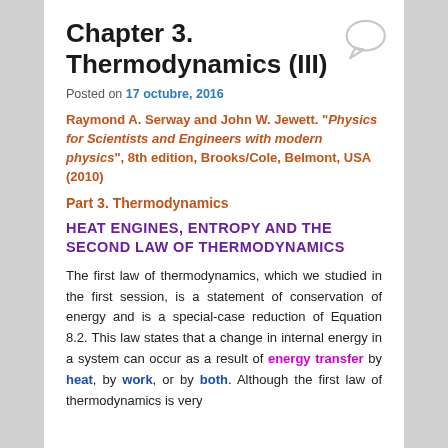Chapter 3. Thermodynamics (III)
Posted on 17 octubre, 2016
Raymond A. Serway and John W. Jewett. “Physics for Scientists and Engineers with modern physics”, 8th edition, Brooks/Cole, Belmont, USA (2010)
Part 3. Thermodynamics
HEAT ENGINES, ENTROPY AND THE SECOND LAW OF THERMODYNAMICS
The first law of thermodynamics, which we studied in the first session, is a statement of conservation of energy and is a special-case reduction of Equation 8.2. This law states that a change in internal energy in a system can occur as a result of energy transfer by heat, by work, or by both. Although the first law of thermodynamics is very